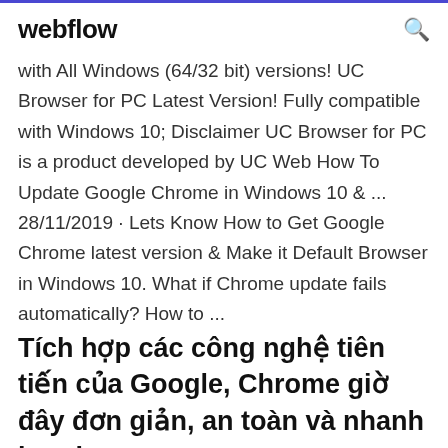webflow
with All Windows (64/32 bit) versions! UC Browser for PC Latest Version! Fully compatible with Windows 10; Disclaimer UC Browser for PC is a product developed by UC Web How To Update Google Chrome in Windows 10 & ... 28/11/2019 · Lets Know How to Get Google Chrome latest version & Make it Default Browser in Windows 10. What if Chrome update fails automatically? How to ...
Tích hợp các công nghệ tiên tiến của Google, Chrome giờ đây đơn giản, an toàn và nhanh hơn bao